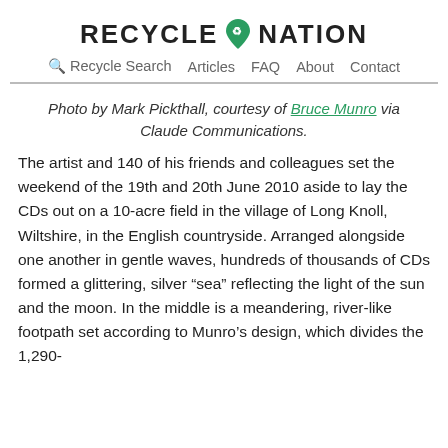RECYCLE NATION
Recycle Search   Articles   FAQ   About   Contact
Photo by Mark Pickthall, courtesy of Bruce Munro via Claude Communications.
The artist and 140 of his friends and colleagues set the weekend of the 19th and 20th June 2010 aside to lay the CDs out on a 10-acre field in the village of Long Knoll, Wiltshire, in the English countryside. Arranged alongside one another in gentle waves, hundreds of thousands of CDs formed a glittering, silver “sea” reflecting the light of the sun and the moon. In the middle is a meandering, river-like footpath set according to Munro’s design, which divides the 1,290-